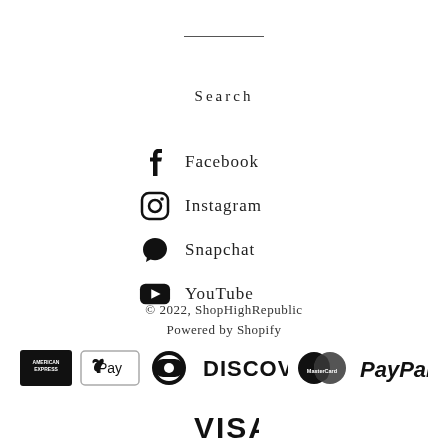Search
Facebook
Instagram
Snapchat
YouTube
© 2022, ShopHighRepublic
Powered by Shopify
[Figure (logo): Payment method logos: American Express, Apple Pay, Diners Club, Discover, MasterCard, PayPal, Visa]